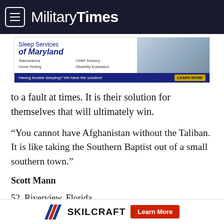Military Times
[Figure (infographic): Sleep Services of Maryland advertisement banner. Text: Telemedicine, CPAP Delivery, Home Testing, Disability Evaluation. Having trouble sleeping? We have the solution! LEARN MORE. Image of person sleeping.]
to a fault at times. It is their solution for themselves that will ultimately win.
“You cannot have Afghanistan without the Taliban. It is like taking the Southern Baptist out of a small southern town.”
Scott Mann
52. Riverview, Florida
[Figure (logo): SKILCRAFT logo with red and blue chevron/slash graphic. Learn More button in red.]